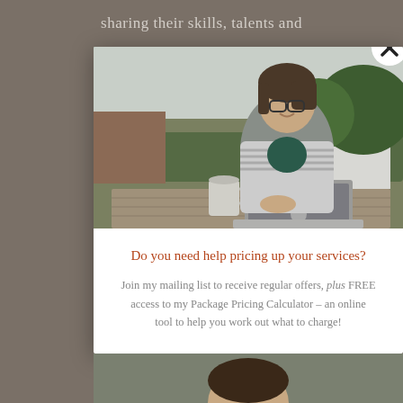sharing their skills, talents and
[Figure (photo): Woman with glasses sitting outdoors at a wooden table with a laptop (Apple MacBook) and a mug, smiling, with hedges and buildings in the background]
Do you need help pricing up your services?
Join my mailing list to receive regular offers, plus FREE access to my Package Pricing Calculator – an online tool to help you work out what to charge!